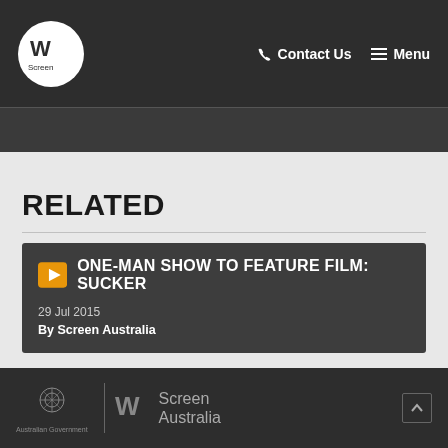Screen Australia | Contact Us | Menu
RELATED
ONE-MAN SHOW TO FEATURE FILM: SUCKER
29 Jul 2015
By Screen Australia
Australian Government | Screen Australia